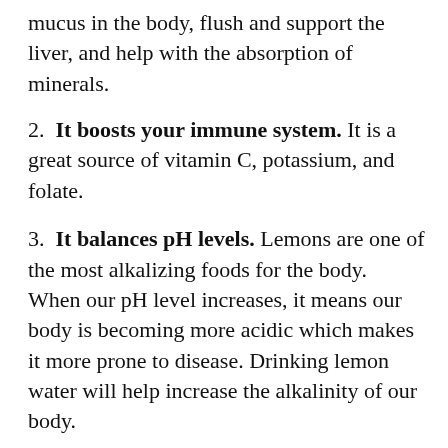mucus in the body, flush and support the liver, and help with the absorption of minerals.
2.  It boosts your immune system. It is a great source of vitamin C, potassium, and folate.
3.  It balances pH levels. Lemons are one of the most alkalizing foods for the body. When our pH level increases, it means our body is becoming more acidic which makes it more prone to disease. Drinking lemon water will help increase the alkalinity of our body.
4.  It’s a natural energizer. Lemon juice provides your body with energy when it enters your digestive tract.